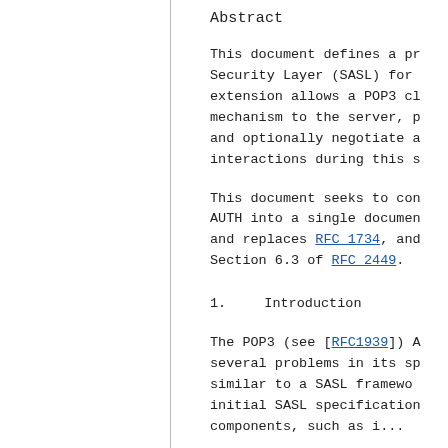Abstract
This document defines a profile of Simple Authentication and Security Layer (SASL) for use by the POP3 protocol. This extension allows a POP3 client to indicate an authentication mechanism to the server, perform an authentication protocol exchange, and optionally negotiate a security layer for subsequent protocol interactions during this session.
This document seeks to consolidate the information related to POP3 AUTH into a single document. This document replaces RFC 1734, and obsoletes the description in Section 6.3 of RFC 2449.
1.   Introduction
The POP3 (see [RFC1939]) AUTH command has suffered from several problems in its specification. It has a mechanism similar to a SASL framework, but predates the introduction of initial SASL specification. There are also some syntactic components, such as a...